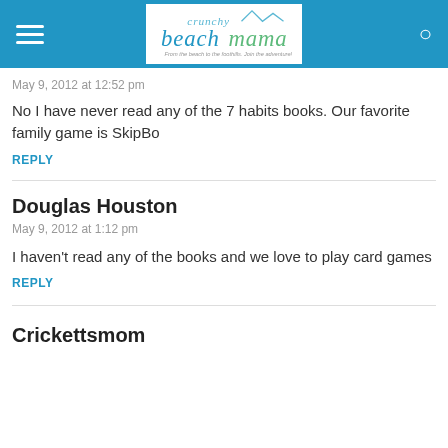Crunchy Beach Mama — From the beach to the foothills. Join the adventure!
May 9, 2012 at 12:52 pm
No I have never read any of the 7 habits books. Our favorite family game is SkipBo
REPLY
Douglas Houston
May 9, 2012 at 1:12 pm
I haven't read any of the books and we love to play card games
REPLY
Crickettsmom